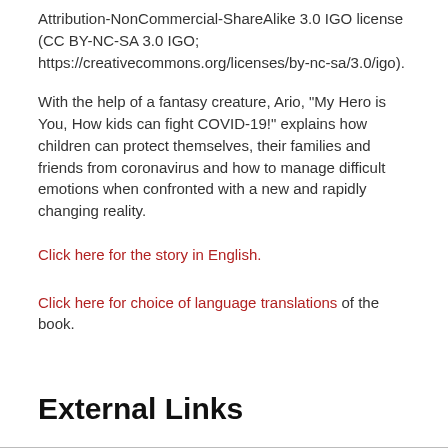Attribution-NonCommercial-ShareAlike 3.0 IGO license (CC BY-NC-SA 3.0 IGO; https://creativecommons.org/licenses/by-nc-sa/3.0/igo).
With the help of a fantasy creature, Ario, “My Hero is You, How kids can fight COVID-19!” explains how children can protect themselves, their families and friends from coronavirus and how to manage difficult emotions when confronted with a new and rapidly changing reality.
Click here for the story in English.
Click here for choice of language translations of the book.
External Links